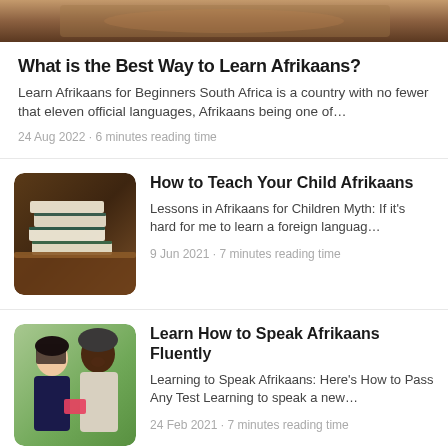[Figure (photo): Top partial image - warm brown tones, appears to be a person/object in warm lighting]
What is the Best Way to Learn Afrikaans?
Learn Afrikaans for Beginners South Africa is a country with no fewer that eleven official languages, Afrikaans being one of…
24 Aug 2022 • 6 minutes reading time
[Figure (photo): Stack of books with green covers on a wooden surface]
How to Teach Your Child Afrikaans
Lessons in Afrikaans for Children Myth: If it's hard for me to learn a foreign languag…
9 Jun 2021 • 7 minutes reading time
[Figure (photo): Two women smiling outdoors, one Asian and one African, carrying books]
Learn How to Speak Afrikaans Fluently
Learning to Speak Afrikaans: Here's How to Pass Any Test Learning to speak a new…
24 Feb 2021 • 7 minutes reading time
[Figure (photo): Partial view of another article thumbnail at the bottom]